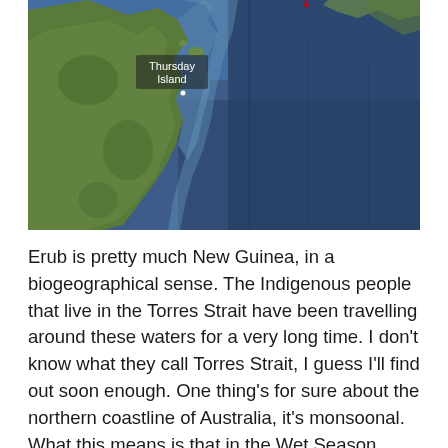[Figure (map): Google Maps satellite view showing the Torres Strait region, with the Cape York Peninsula of Australia on the left (green land mass) and deep blue ocean on the right. 'Thursday Island' is labeled with a white text marker in the upper-left area of the map. A small red pin marker is visible at the top center of the map.]
Erub is pretty much New Guinea, in a biogeographical sense. The Indigenous people that live in the Torres Strait have been travelling around these waters for a very long time. I don't know what they call Torres Strait, I guess I'll find out soon enough. One thing's for sure about the northern coastline of Australia, it's monsoonal. What this means is that in the Wet Season there's often no distinction between land and sea. The same thing happens in monsoonal Asia, vast stretches of the northern coastline of